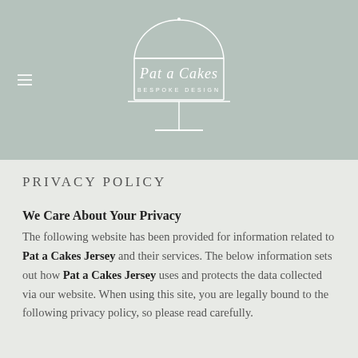[Figure (logo): Pat a Cakes Bespoke Design logo — stylized script text inside a cake-stand outline with white lines on sage-green background]
PRIVACY POLICY
We Care About Your Privacy
The following website has been provided for information related to Pat a Cakes Jersey and their services. The below information sets out how Pat a Cakes Jersey uses and protects the data collected via our website. When using this site, you are legally bound to the following privacy policy, so please read carefully.